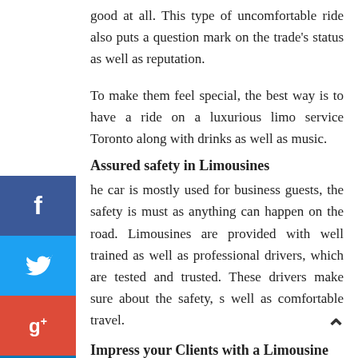good at all. This type of uncomfortable ride also puts a question mark on the trade's status as well as reputation.
To make them feel special, the best way is to have a ride on a luxurious limo service Toronto along with drinks as well as music.
Assured safety in Limousines
The car is mostly used for business guests, the safety is must as anything can happen on the road. Limousines are provided with well trained as well as professional drivers, which are tested and trusted. These drivers make sure about the safety, s well as comfortable travel.
Impress your Clients with a Limousine
o service Toronto provides with a positive attitude toward your company in the mind of the new client as well